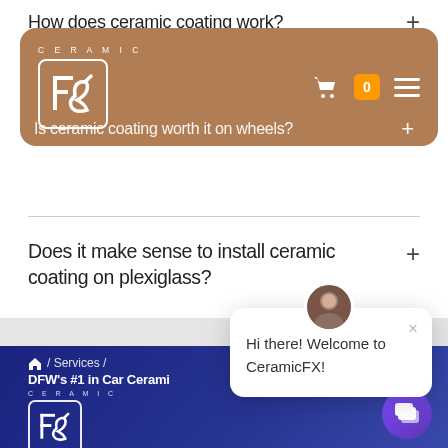How does ceramic coating work?
[Figure (logo): CeramicFX logo on brown navigation bar with shopping cart and menu icon]
Is ceramic coating worth it on wheels?
Does it make sense to install ceramic coating on plexiglass?
[Figure (screenshot): Chat popup: Hi there! Welcome to CeramicFX! with avatar and close button]
/ Services / DFW's #1 in Car Cerami...
[Figure (logo): CeramicFX footer logo on dark blue background with chat button]